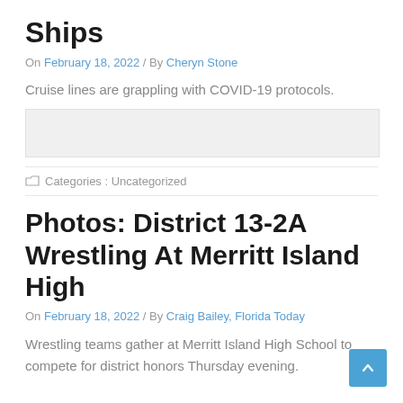Ships
On February 18, 2022 / By Cheryn Stone
Cruise lines are grappling with COVID-19 protocols.
Categories : Uncategorized
Photos: District 13-2A Wrestling At Merritt Island High
On February 18, 2022 / By Craig Bailey, Florida Today
Wrestling teams gather at Merritt Island High School to compete for district honors Thursday evening.